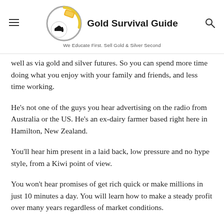Gold Survival Guide — We Educate First. Sell Gold & Silver Second
well as via gold and silver futures. So you can spend more time doing what you enjoy with your family and friends, and less time working.
He's not one of the guys you hear advertising on the radio from Australia or the US. He's an ex-dairy farmer based right here in Hamilton, New Zealand.
You'll hear him present in a laid back, low pressure and no hype style, from a Kiwi point of view.
You won't hear promises of get rich quick or make millions in just 10 minutes a day. You will learn how to make a steady profit over many years regardless of market conditions.
Sign up today for the webinar on Tuesday, 20 September